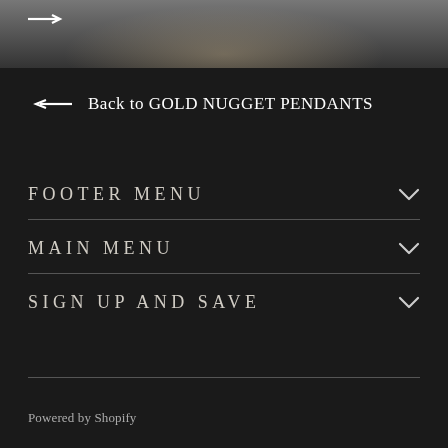[Figure (photo): Partial top image showing jewelry or gold nugget items in a bowl, partially cropped, with a right-pointing arrow overlay in the top left corner]
← Back to GOLD NUGGET PENDANTS
FOOTER MENU
MAIN MENU
SIGN UP AND SAVE
Powered by Shopify